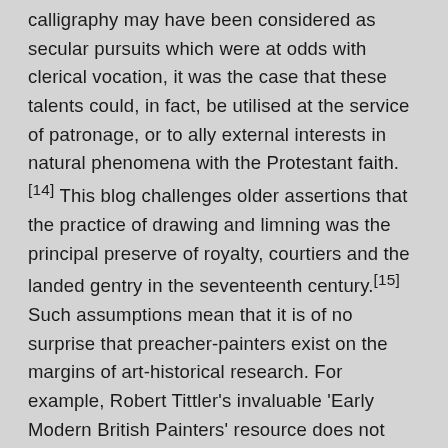calligraphy may have been considered as secular pursuits which were at odds with clerical vocation, it was the case that these talents could, in fact, be utilised at the service of patronage, or to ally external interests in natural phenomena with the Protestant faith.[14] This blog challenges older assertions that the practice of drawing and limning was the principal preserve of royalty, courtiers and the landed gentry in the seventeenth century.[15] Such assumptions mean that it is of no surprise that preacher-painters exist on the margins of art-historical research. For example, Robert Tittler's invaluable 'Early Modern British Painters' resource does not mention Francis Potter (1594–1678), rector of Kilmington, Somerset, whose portrait of Sir Thomas Pope (c. 1507–1559) hangs in Trinity College, Oxford, which Pope founded (see Figure 3).[16] The painting is an accomplished work, showing Potter's sensitivity to the intricacies of his sitter's